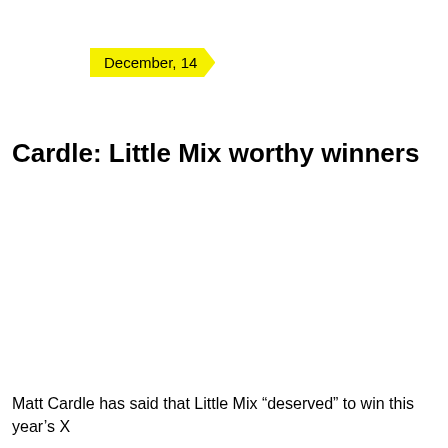December, 14
Cardle: Little Mix worthy winners
Matt Cardle has said that Little Mix "deserved" to win this year's X